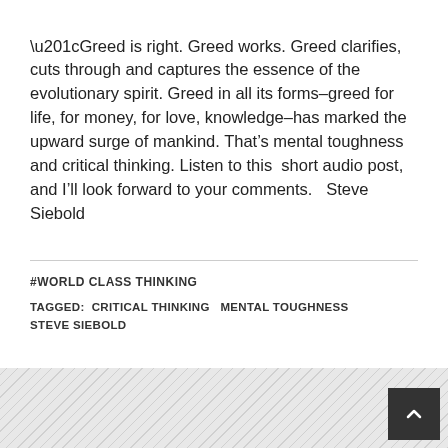“Greed is right. Greed works. Greed clarifies, cuts through and captures the essence of the evolutionary spirit. Greed in all its forms–greed for life, for money, for love, knowledge–has marked the upward surge of mankind. That’s mental toughness and critical thinking. Listen to this  short audio post, and I’ll look forward to your comments.   Steve Siebold
#WORLD CLASS THINKING
TAGGED:  CRITICAL THINKING   MENTAL TOUGHNESS  STEVE SIEBOLD